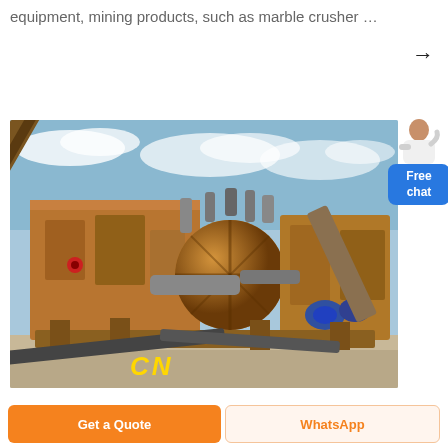equipment, mining products, such as marble crusher …
[Figure (photo): Large orange/brown industrial mining crusher machine (CN brand) on an outdoor site with blue sky background. Conveyor belts, cylindrical drum, and heavy equipment frames visible.]
Free chat
Get a Quote
WhatsApp